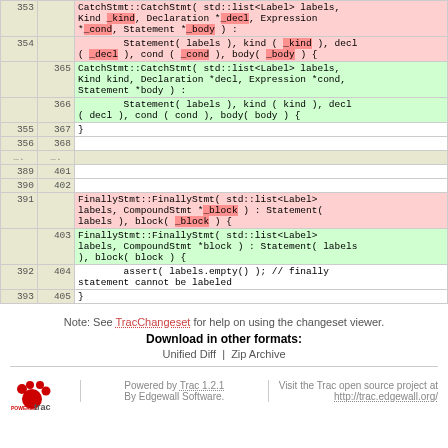| old | new | code |
| --- | --- | --- |
| 353 |  | CatchStmt::CatchStmt( std::list<Label> labels,
Kind _kind, Declaration *_decl, Expression
*_cond, Statement *_body ) : |
| 354 |  |         Statement( labels ), kind ( _kind ), decl
( _decl ), cond ( _cond ), body( _body ) { |
|  | 365 | CatchStmt::CatchStmt( std::list<Label> labels,
Kind kind, Declaration *decl, Expression *cond,
Statement *body ) : |
|  | 366 |         Statement( labels ), kind ( kind ), decl
( decl ), cond ( cond ), body( body ) { |
| 355 | 367 | } |
| 356 | 368 |  |
| .... | .... |  |
| 389 | 401 |  |
| 390 | 402 |  |
| 391 |  | FinallyStmt::FinallyStmt( std::list<Label>
labels, CompoundStmt *_block ) : Statement(
labels ), block( _block ) { |
|  | 403 | FinallyStmt::FinallyStmt( std::list<Label>
labels, CompoundStmt *block ) : Statement( labels
), block( block ) { |
| 392 | 404 |         assert( labels.empty() ); // finally
statement cannot be labeled |
| 393 | 405 | } |
Note: See TracChangeset for help on using the changeset viewer.
Download in other formats:
Unified Diff | Zip Archive
Powered by Trac 1.2.1
By Edgewall Software.
Visit the Trac open source project at
http://trac.edgewall.org/